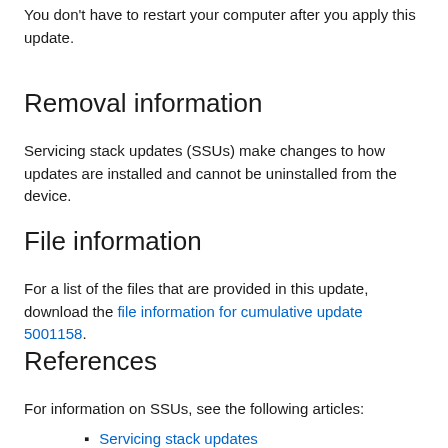You don't have to restart your computer after you apply this update.
Removal information
Servicing stack updates (SSUs) make changes to how updates are installed and cannot be uninstalled from the device.
File information
For a list of the files that are provided in this update, download the file information for cumulative update 5001158.
References
For information on SSUs, see the following articles:
Servicing stack updates